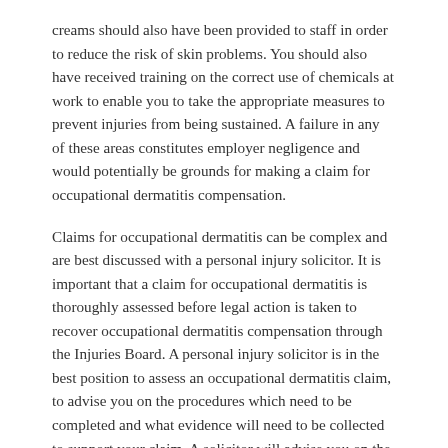creams should also have been provided to staff in order to reduce the risk of skin problems. You should also have received training on the correct use of chemicals at work to enable you to take the appropriate measures to prevent injuries from being sustained. A failure in any of these areas constitutes employer negligence and would potentially be grounds for making a claim for occupational dermatitis compensation.
Claims for occupational dermatitis can be complex and are best discussed with a personal injury solicitor. It is important that a claim for occupational dermatitis is thoroughly assessed before legal action is taken to recover occupational dermatitis compensation through the Injuries Board. A personal injury solicitor is in the best position to assess an occupational dermatitis claim, to advise you on the procedures which need to be completed and what evidence will need to be collected to support your claim. A solicitor will advise you on the